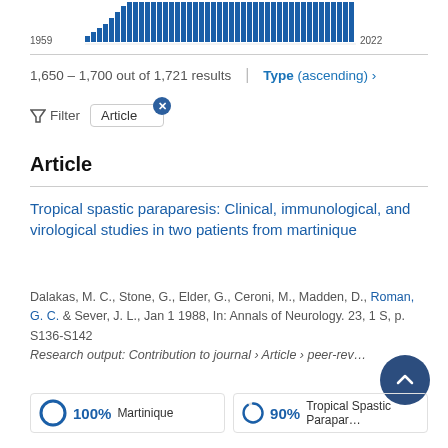[Figure (bar-chart): Publications by year]
1,650 - 1,700 out of 1,721 results | Type (ascending) >
Filter  Article
Article
Tropical spastic paraparesis: Clinical, immunological, and virological studies in two patients from martinique
Dalakas, M. C., Stone, G., Elder, G., Ceroni, M., Madden, D., Roman, G. C. & Sever, J. L., Jan 1 1988, In: Annals of Neurology. 23, 1 S, p. S136-S142
Research output: Contribution to journal › Article › peer-reviewed
100% Martinique  90% Tropical Spastic Paraparesis